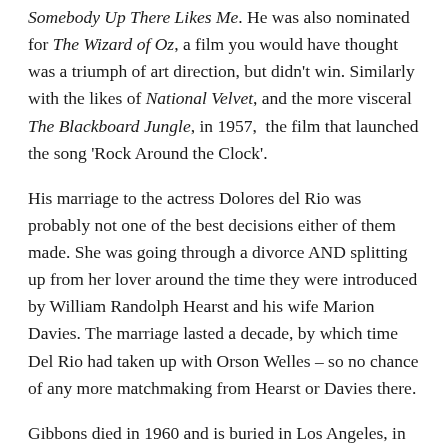Somebody Up There Likes Me. He was also nominated for The Wizard of Oz, a film you would have thought was a triumph of art direction, but didn't win. Similarly with the likes of National Velvet, and the more visceral The Blackboard Jungle, in 1957,  the film that launched the song 'Rock Around the Clock'.
His marriage to the actress Dolores del Rio was probably not one of the best decisions either of them made. She was going through a divorce AND splitting up from her lover around the time they were introduced by William Randolph Hearst and his wife Marion Davies. The marriage lasted a decade, by which time Del Rio had taken up with Orson Welles – so no chance of any more matchmaking from Hearst or Davies there.
Gibbons died in 1960 and is buried in Los Angeles, in